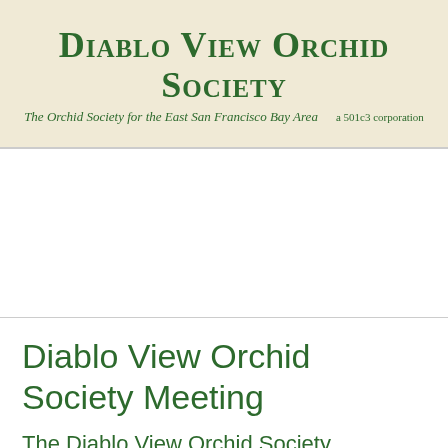DIABLO VIEW ORCHID SOCIETY — The Orchid Society for the East San Francisco Bay Area — a 501c3 corporation
Diablo View Orchid Society Meeting
The Diablo View Orchid Society